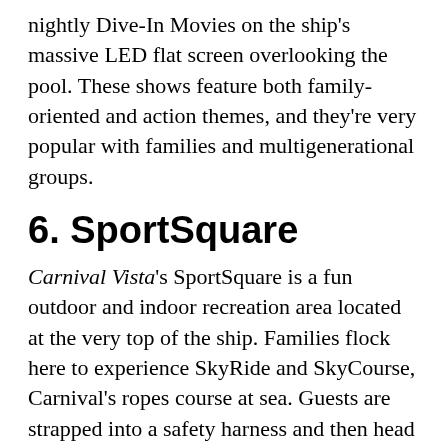nightly Dive-In Movies on the ship's massive LED flat screen overlooking the pool. These shows feature both family-oriented and action themes, and they're very popular with families and multigenerational groups.
6. SportSquare
Carnival Vista's SportSquare is a fun outdoor and indoor recreation area located at the very top of the ship. Families flock here to experience SkyRide and SkyCourse, Carnival's ropes course at sea. Guests are strapped into a safety harness and then head out to traverse the aerial course. The SportsSquare Clubhouse has indoor activities like mini-bowling and arcade-type basketball. Soccer, volleyball, ping-pong, a basketball court, SkyGreens, a jogging track, and